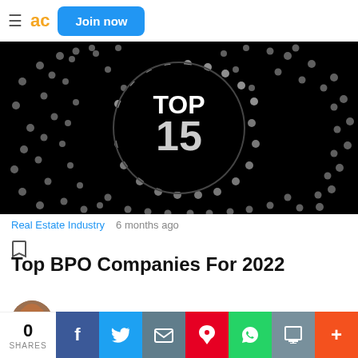≡ ac Join now
[Figure (photo): Black background with white dots arranged in a circular pattern, with 'TOP 15' text in the center circle]
Real Estate Industry   6 months ago
Top BPO Companies For 2022
Nicole Ocean
♡ 1   💬 1
0 SHARES  [Facebook] [Twitter] [Email] [Pinterest] [WhatsApp] [Print] [More]